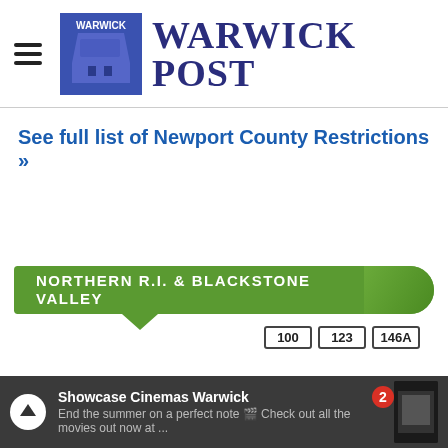[Figure (logo): Warwick Post logo — blue water tower icon with 'WARWICK' text, beside large bold 'WARWICK POST' text in dark blue serif font]
See full list of Newport County Restrictions »
[Figure (infographic): Green banner reading 'NORTHERN R.I. & BLACKSTONE VALLEY' with a downward-pointing chevron, and three route badge icons: 100, 123, 146A]
Overnight
Showcase Cinemas Warwick — End the summer on a perfect note 🎬 Check out all the movies out now at ...